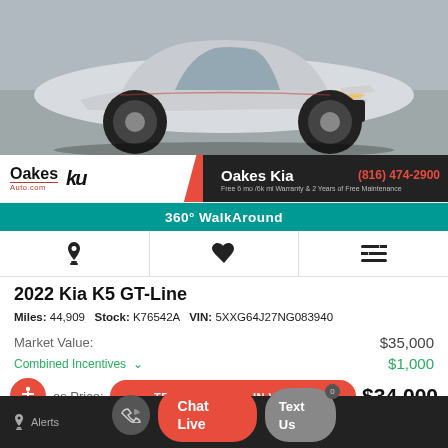[Figure (photo): Front view of a silver 2022 Kia K5 GT-Line parked on a lot]
Oakes Auto.com | Kia logo | Oakes Kia | (816) 474-2900 | Free 6 mo /6k mi Warranty & 2 Years of Free Maintenance
360° WalkAround
Bell icon | Heart icon | Compare icon
2022 Kia K5 GT-Line
Miles: 44,909   Stock: K76542A   VIN: 5XXG64J27NG083940
Market Value:   $35,000
Combined Incentives   $1,000
es Price:   TEXT MY TRADE-IN VALUE!   $34,000
Alerts | Chat Live | Text Us